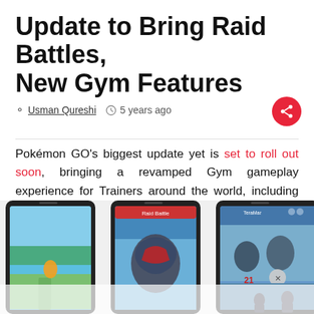Update to Bring Raid Battles, New Gym Features
Usman Qureshi  5 years ago
Pokémon GO's biggest update yet is set to roll out soon, bringing a revamped Gym gameplay experience for Trainers around the world, including the opportunity to join together with others to battle against powerful Pokémon in the new Raid Battle feature. The developers say that at the heart of the upcoming update is “a new motivation system that will significantly change how you interact with Gyms”.
[Figure (photo): Three smartphone screenshots showing Pokémon GO gameplay including the Raid Battle feature and gym interface.]